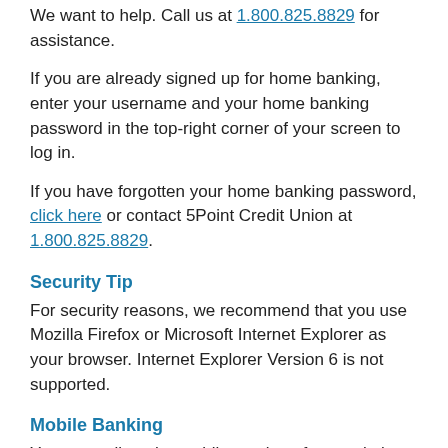We want to help. Call us at 1.800.825.8829 for assistance.
If you are already signed up for home banking, enter your username and your home banking password in the top-right corner of your screen to log in.
If you have forgotten your home banking password, click here or contact 5Point Credit Union at 1.800.825.8829.
Security Tip
For security reasons, we recommend that you use Mozilla Firefox or Microsoft Internet Explorer as your browser. Internet Explorer Version 6 is not supported.
Mobile Banking
You can pull up the mobile version of our website on your phone or mobile device. Just visit 5pointcu.org on your mobile device, then sign in.
Popmoney